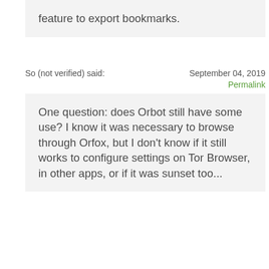feature to export bookmarks.
So (not verified) said:  September 04, 2019
Permalink
One question: does Orbot still have some use? I know it was necessary to browse through Orfox, but I don't know if it still works to configure settings on Tor Browser, in other apps, or if it was sunset too...